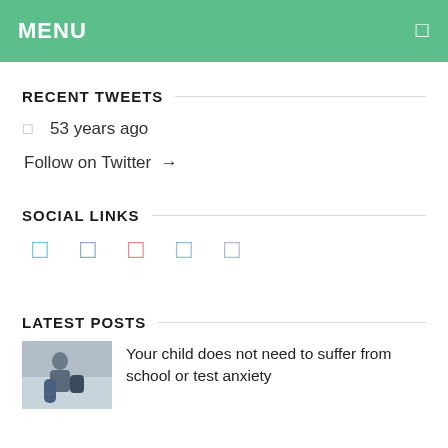MENU
RECENT TWEETS
53 years ago
Follow on Twitter →
SOCIAL LINKS
[Figure (infographic): Five social media icons in a row: blue icon, blue icon, pink/red icon, blue icon, grey-blue icon]
LATEST POSTS
Your child does not need to suffer from school or test anxiety